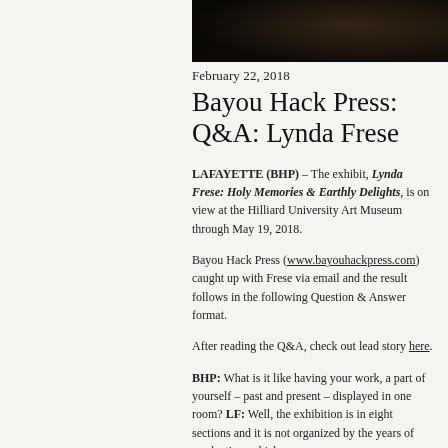[Figure (photo): Dark photographic image at the top of the page, showing a dark textured scene]
February 22, 2018
Bayou Hack Press: Q&A: Lynda Frese
LAFAYETTE (BHP) – The exhibit, Lynda Frese: Holy Memories & Earthly Delights, is on view at the Hilliard University Art Museum through May 19, 2018.
Bayou Hack Press (www.bayouhackpress.com) caught up with Frese via email and the result follows in the following Question & Answer format.
After reading the Q&A, check out lead story here.
BHP: What is it like having your work, a part of yourself – past and present – displayed in one room? LF: Well, the exhibition is in eight sections and it is not organized by the years of production, which